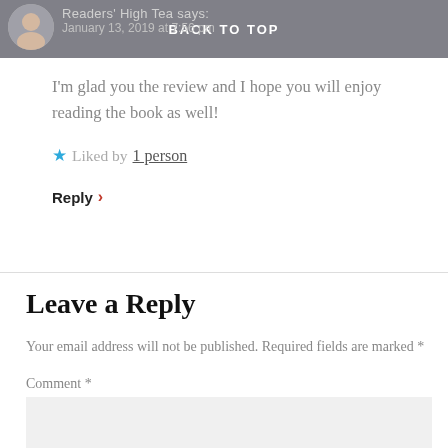BACK TO TOP
Readers' High Tea says:
January 13, 2019 at 7:56 pm
I'm glad you the review and I hope you will enjoy reading the book as well!
★ Liked by 1 person
Reply ›
Leave a Reply
Your email address will not be published. Required fields are marked *
Comment *